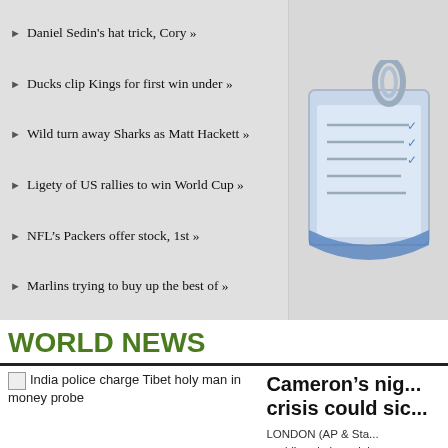Daniel Sedin's hat trick, Cory »
Ducks clip Kings for first win under »
Wild turn away Sharks as Matt Hackett »
Ligety of US rallies to win World Cup »
NFL's Packers offer stock, 1st »
Marlins trying to buy up the best of »
[Figure (illustration): Clipboard with checklist and paperclip icon]
WORLD NEWS
[Figure (photo): India police charge Tibet holy man in money probe - news photo thumbnail]
India police charge Tibet holy man in money probe
Cameron's nig... crisis could sic...
LONDON (AP & Sta... world's sole imperial ... European summit inte... economic …
Israeli strike ki... militants in Ga...
GAZA CITY, Gaza St...
India police charge Tibet holy man in